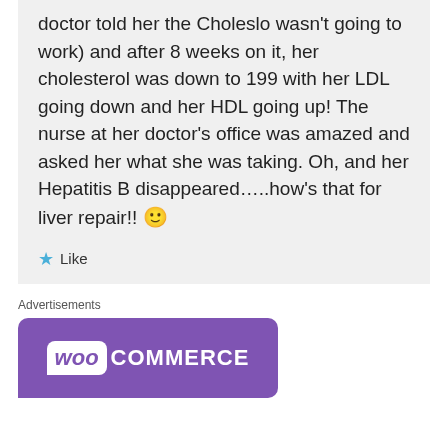doctor told her the Choleslo wasn't going to work) and after 8 weeks on it, her cholesterol was down to 199 with her LDL going down and her HDL going up! The nurse at her doctor's office was amazed and asked her what she was taking. Oh, and her Hepatitis B disappeared…..how's that for liver repair!! 🙂
★ Like
Advertisements
[Figure (logo): WooCommerce logo on purple background banner]